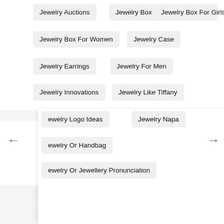Jewelry Auctions
Jewelry Box
Jewelry Box For Girls
Jewelry Box For Women
Jewelry Case
Jewelry Earrings
Jewelry For Men
Jewelry Innovations
Jewelry Like Tiffany
Jewelry Logo Ideas
Jewelry Napa
Jewelry Or Handbag
Jewelry Or Jewellery Pronunciation
Jewelry Repair Near Me
Jewelry Repair Oakland
Jewelry Tech Santa Rosa
Jewelry Vine
Jewelry Vintage
Jewelry Wholesale Vendors
Jewelry With Names
Jewelry Without Markings